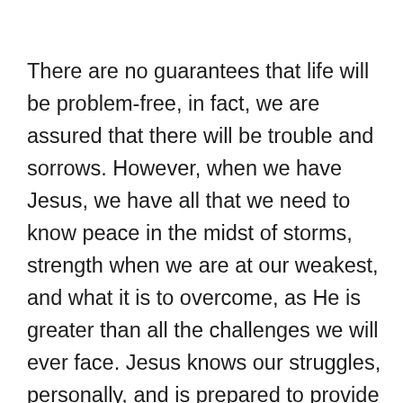There are no guarantees that life will be problem-free, in fact, we are assured that there will be trouble and sorrows. However, when we have Jesus, we have all that we need to know peace in the midst of storms, strength when we are at our weakest, and what it is to overcome, as He is greater than all the challenges we will ever face. Jesus knows our struggles, personally, and is prepared to provide all that we need to navigate each step of our journey, as we choose to trust and rely on Him. May we ever seek the Lord, in whom we find all that we need, for He is the Overcoming One and our